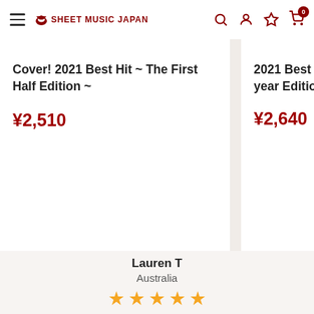SHEET MUSIC JAPAN
Cover! 2021 Best Hit ~ The First Half Edition ~
¥2,510
2021 Best Hit ~ The year Edition
¥2,640
Testimonials
Lauren T
Australia
[Figure (other): 5 orange/gold star rating icons]